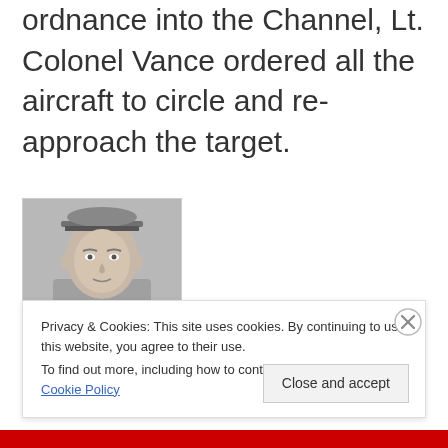ordnance into the Channel, Lt. Colonel Vance ordered all the aircraft to circle and re-approach the target.
[Figure (photo): Black and white portrait photograph of Lt. Colonel Vance in military uniform and officer cap]
Privacy & Cookies: This site uses cookies. By continuing to use this website, you agree to their use. To find out more, including how to control cookies, see here: Cookie Policy